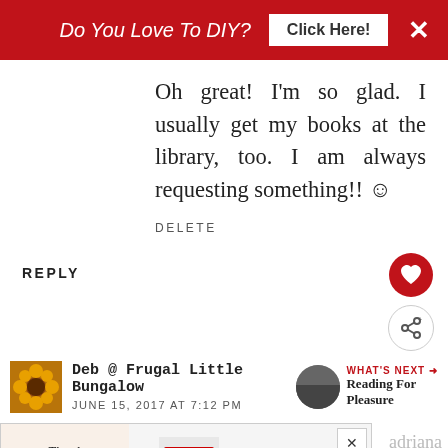[Figure (screenshot): Red advertisement banner: 'Do You Love To DIY? Click Here!' with X close button]
Oh great! I'm so glad. I usually get my books at the library, too. I am always requesting something!! ☺
DELETE
REPLY
[Figure (other): Heart icon in red circle and share icon in white circle]
Deb @ Frugal Little Bungalow
JUNE 15, 2017 AT 7:12 PM
WHAT'S NEXT → Reading For Pleasure
[Figure (screenshot): Advertisement banner: Thank you Operation Gratitude with patriotic imagery and healthcare workers]